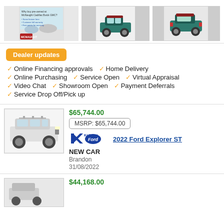[Figure (photo): Three car images in a horizontal strip: dealer ad for McNaught Cadillac Buick GMC, side view of a teal Mini Cooper convertible, rear 3/4 view of a teal Mini Cooper]
Dealer updates
Online Financing approvals
Home Delivery
Online Purchasing
Service Open
Virtual Appraisal
Video Chat
Showroom Open
Payment Deferrals
Service Drop Off/Pick up
[Figure (photo): White 2022 Ford Explorer ST SUV]
$65,744.00
MSRP: $65,744.00
[Figure (logo): Kelleher Ford dealer logo]
2022 Ford Explorer ST
NEW CAR
Brandon
31/08/2022
[Figure (photo): Partial view of another car listing]
$44,168.00